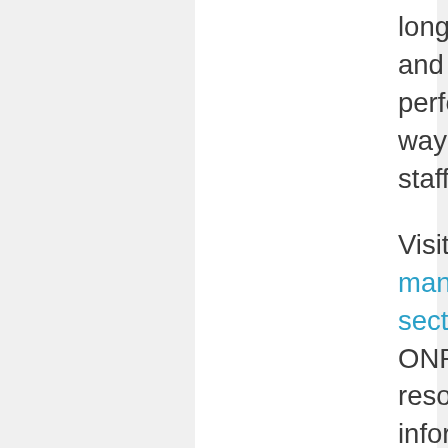long-term assets, and the ability to perform tasks in a way that is safe for staff and tenants.
Visit the Asset management section of ONPHA's resource library for information to help you keep on top of your maintenance tasks. Make sure you're logged in to the website as an ONPHA member. Check out our Maintenance Planning Handbook to help your organization develop a comprehensive maintenance plan. This is a free resource for Upgraded ONPHA members.